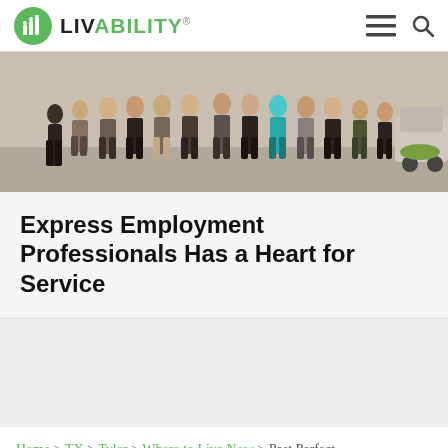LIVABILITY
[Figure (photo): Group of people standing outdoors in a parking lot, dressed in business and semi-formal attire]
Express Employment Professionals Has a Heart for Service
Home > TX > Tyler > Where to Live Now > Past Perfect Homes: Discover Tyler's Historic Homes